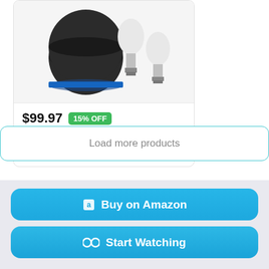[Figure (photo): Product photo showing Amazon Echo Dot (black) with two white smart light bulbs]
$99.97  15% OFF
Ring Smart Lighting - A19 Bulb, White (2-pack) bundle with All-new...
Load more products
Buy on Amazon
Start Watching